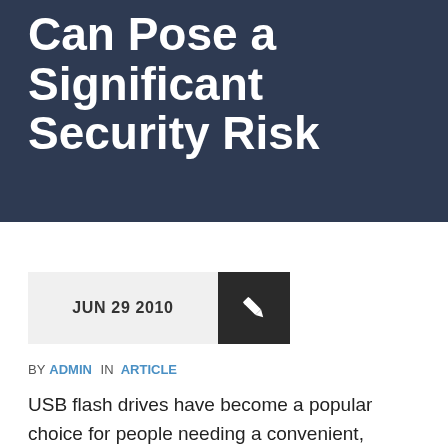Can Pose a Significant Security Risk
[Figure (other): Date badge showing JUN 29 2010 with a pencil/edit icon on dark background]
BY ADMIN IN ARTICLE
USB flash drives have become a popular choice for people needing a convenient, portable, and cheap storage device for their data. Unfortunately, as the use of these devices increases, so does the risk of potential security breaches. Some of these risks include the